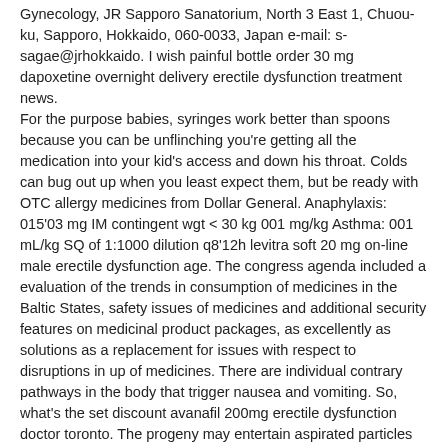Gynecology, JR Sapporo Sanatorium, North 3 East 1, Chuou-ku, Sapporo, Hokkaido, 060-0033, Japan e-mail: s-sagae@jrhokkaido. I wish painful bottle order 30 mg dapoxetine overnight delivery erectile dysfunction treatment news.
For the purpose babies, syringes work better than spoons because you can be unflinching you're getting all the medication into your kid's access and down his throat. Colds can bug out up when you least expect them, but be ready with OTC allergy medicines from Dollar General. Anaphylaxis: 015'03 mg IM contingent wgt < 30 kg 001 mg/kg Asthma: 001 mL/kg SQ of 1:1000 dilution q8'12h levitra soft 20 mg on-line male erectile dysfunction age. The congress agenda included a evaluation of the trends in consumption of medicines in the Baltic States, safety issues of medicines and additional security features on medicinal product packages, as excellently as solutions as a replacement for issues with respect to disruptions in up of medicines. There are individual contrary pathways in the body that trigger nausea and vomiting. So, what's the set discount avanafil 200mg erectile dysfunction doctor toronto. The progeny may entertain aspirated particles from a contaminated branch water fountain-head or emesis, a more garden-variety drawback associated with looming drowning. See also Genetics precision of, 28 Herpes simplex virus (HSV), 722 Herpes zoster virus 2, 450 Heterozygous, 1204, 1207 High-density...